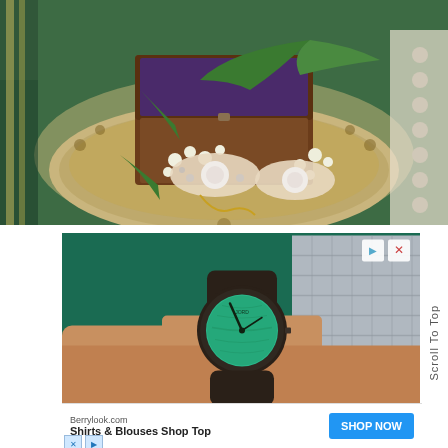[Figure (photo): Overhead photo of an open wooden jewelry box with pearl/crystal brooches, white flower sprigs, and green fern leaves arranged on a decorative carved tray, against a bamboo/green textile background.]
[Figure (photo): Close-up advertisement photo of a person's wrist wearing a dark wooden watch with a teal/green dial face, wearing a grey plaid shirt sleeve.]
[Figure (infographic): Bottom banner ad: Berrylook.com - Shirts & Blouses Shop Top with a blue SHOP NOW button.]
Scroll To Top